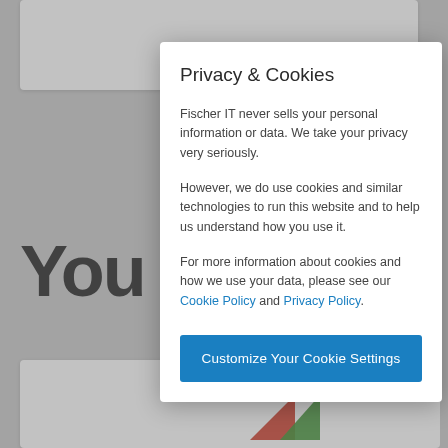Privacy & Cookies
Fischer IT never sells your personal information or data. We take your privacy very seriously.
However, we do use cookies and similar technologies to run this website and to help us understand how you use it.
For more information about cookies and how we use your data, please see our Cookie Policy and Privacy Policy.
Customize Your Cookie Settings